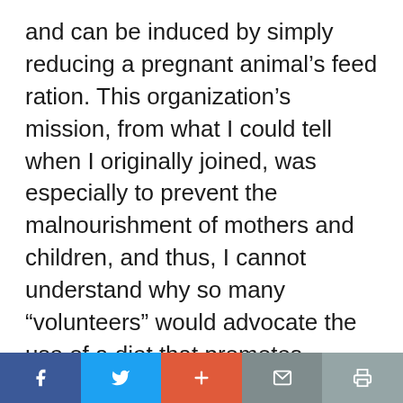and can be induced by simply reducing a pregnant animal’s feed ration. This organization’s mission, from what I could tell when I originally joined, was especially to prevent the malnourishment of mothers and children, and thus, I cannot understand why so many “volunteers” would advocate the use of a diet that promotes ketosis, specifically in this population.
I think if the organization is going to support the use of the GAPS diet for “curing” all these health problems, at the very least, its safety during pregnancy and breastfeeding needs to
social share bar with Facebook, Twitter, Plus, Email, Print buttons